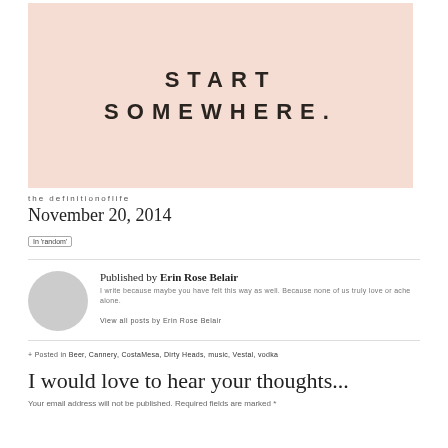[Figure (illustration): Peach/salmon colored rectangular background with bold spaced text reading START SOMEWHERE.]
the definitionoflife
November 20, 2014
In 'random'
Published by Erin Rose Belair
I write because maybe you have felt this way as well. Because none of us truly love or ache alone.
View all posts by Erin Rose Belair
+ Posted in Beer, Cannery, CostaMesa, Dirty Heads, music, Vestal, vodka
I would love to hear your thoughts...
Your email address will not be published. Required fields are marked *